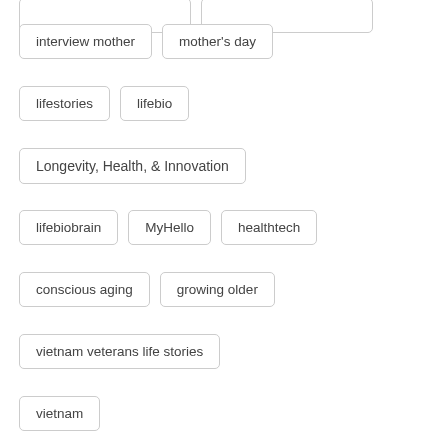interview mother
mother's day
lifestories
lifebio
Longevity, Health, & Innovation
lifebiobrain
MyHello
healthtech
conscious aging
growing older
vietnam veterans life stories
vietnam
national vietnam war veterans day
deuce and a half
army